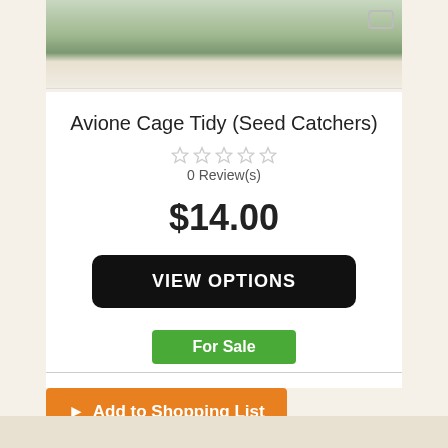[Figure (photo): Product image of Avione Cage Tidy (Seed Catchers) partially cropped at top]
Avione Cage Tidy (Seed Catchers)
0 Review(s)
$14.00
VIEW OPTIONS
For Sale
Add to Shopping List